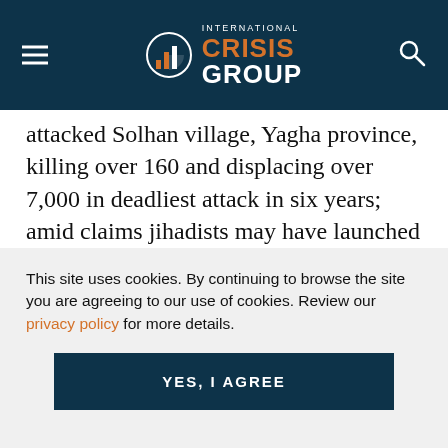International Crisis Group
attacked Solhan village, Yagha province, killing over 160 and displacing over 7,000 in deadliest attack in six years; amid claims jihadists may have launched attack to seize gold mine outside Solhan town, Sahel region's governor 6 June suspended all activities linked to gold mining in Yagha and Oudalan provinces. Al-Qaeda-affiliated Group for the Support of Islam and Muslims (JNIM) 8 June...
This site uses cookies. By continuing to browse the site you are agreeing to our use of cookies. Review our privacy policy for more details.
YES, I AGREE